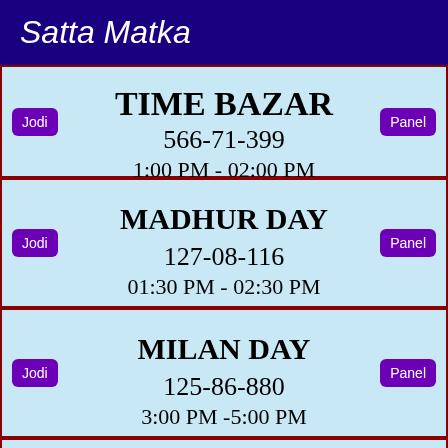Satta Matka
TIME BAZAR
566-71-399
1:00 PM - 02:00 PM
MADHUR DAY
127-08-116
01:30 PM - 02:30 PM
MILAN DAY
125-86-880
3:00 PM -5:00 PM
RAJDHANI DAY